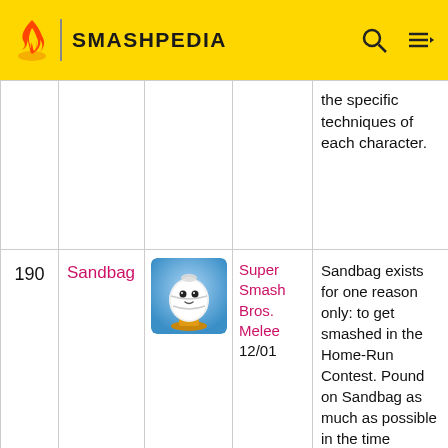SMASHPEDIA
| # | Name | Image | Game/Date | Description |
| --- | --- | --- | --- | --- |
|  |  |  | the specific techniques of each character. |  |
| 190 | Sandbag | [trophy image] | Super Smash Bros. Melee 12/01 | Sandbag exists for one reason only: to get smashed in the Home-Run Contest. Pound on Sandbag as much as possible in the time allotted, then swing for the fences as you compete for the longest home run of all |